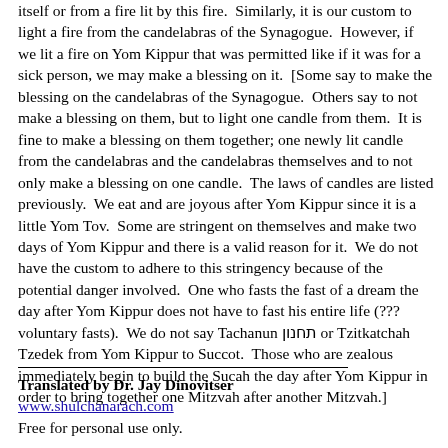itself or from a fire lit by this fire.  Similarly, it is our custom to light a fire from the candelabras of the Synagogue.  However, if we lit a fire on Yom Kippur that was permitted like if it was for a sick person, we may make a blessing on it.  [Some say to make the blessing on the candelabras of the Synagogue.  Others say to not make a blessing on them, but to light one candle from them.  It is fine to make a blessing on them together; one newly lit candle from the candelabras and the candelabras themselves and to not only make a blessing on one candle.  The laws of candles are listed previously.  We eat and are joyous after Yom Kippur since it is a little Yom Tov.  Some are stringent on themselves and make two days of Yom Kippur and there is a valid reason for it.  We do not have the custom to adhere to this stringency because of the potential danger involved.  One who fasts the fast of a dream the day after Yom Kippur does not have to fast his entire life (??? voluntary fasts).  We do not say Tachanun תחנון or Tzitkatchah Tzedek from Yom Kippur to Succot.  Those who are zealous immediately begin to build the Sucah the day after Yom Kippur in order to bring together one Mitzvah after another Mitzvah.]
Translated by Dr. Jay Dinovitser
www.shulchanarach.com
Free for personal use only.